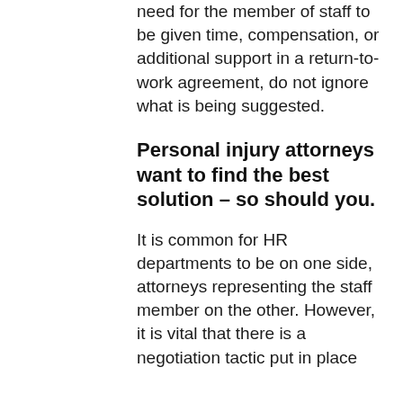need for the member of staff to be given time, compensation, or additional support in a return-to-work agreement, do not ignore what is being suggested.
Personal injury attorneys want to find the best solution – so should you.
It is common for HR departments to be on one side, attorneys representing the staff member on the other. However, it is vital that there is a negotiation tactic put in place